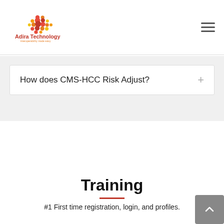[Figure (logo): Adira Technology logo with colorful dot pattern and text 'Adira Technology, interoperability made easy']
How does CMS-HCC Risk Adjust?
Training
#1 First time registration, login, and profiles.